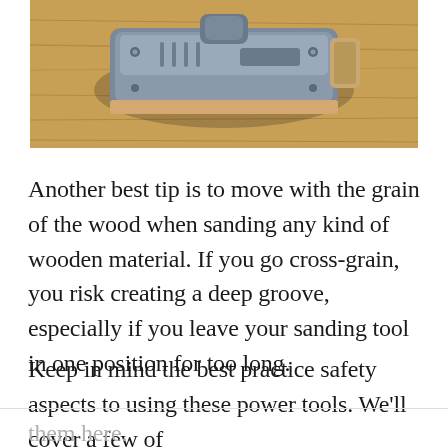[Figure (photo): Close-up photo of a belt sander sitting on a wooden surface, viewed from above at an angle.]
Another best tip is to move with the grain of the wood when sanding any kind of wooden material. If you go cross-grain, you risk creating a deep groove, especially if you leave your sanding tool in one position for too long.
Keep in mind the best practice safety aspects to using these power tools. We’ll cover a few of them here.